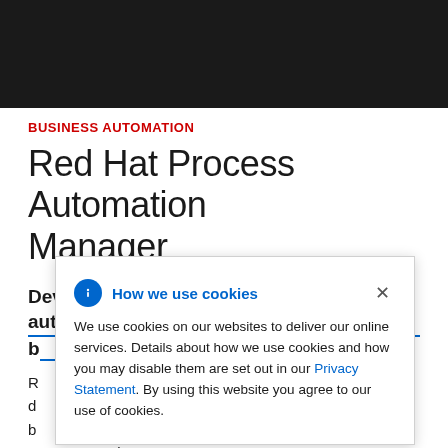BUSINESS AUTOMATION
Red Hat Process Automation Manager
Develop cloud-native applications that automate business decisions and
Red Hat Process Automation Manager is an application development platform that enables developers and business analysts to build and orchestrate cloud-native applications that automate business decisions and process using Business Process Model and Notation (BPMN) and Decision Model and Notation
[Figure (screenshot): Cookie consent popup with 'How we use cookies' title, info icon, close button, and text about cookie usage including a Privacy Statement link]
[Figure (logo): Red Hat chat button with notification badge showing 1]